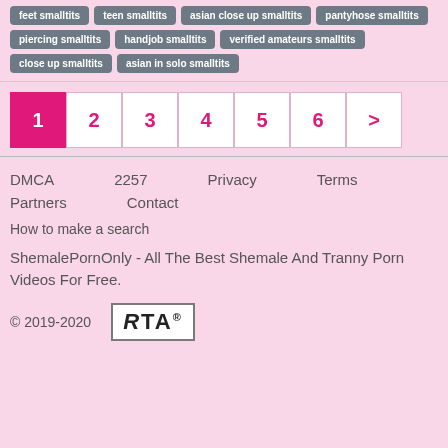feet smalltits
teen smalltits
asian close up smalltits
pantyhose smalltits
piercing smalltits
handjob smalltits
verified amateurs smalltits
close up smalltits
asian in solo smalltits
1 2 3 4 5 6 >
DMCA  2257  Privacy  Terms  Partners  Contact  How to make a search

ShemalePornOnly - All The Best Shemale And Tranny Porn Videos For Free.

© 2019-2020